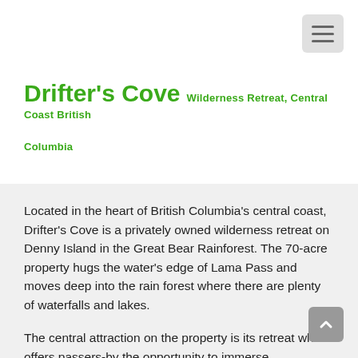Drifter's Cove Wilderness Retreat, Central Coast British Columbia
Located in the heart of British Columbia's central coast, Drifter's Cove is a privately owned wilderness retreat on Denny Island in the Great Bear Rainforest. The 70-acre property hugs the water's edge of Lama Pass and moves deep into the rain forest where there are plenty of waterfalls and lakes.
The central attraction on the property is its retreat which offers passers-by the opportunity to immerse themselves in nature in a place untouched by